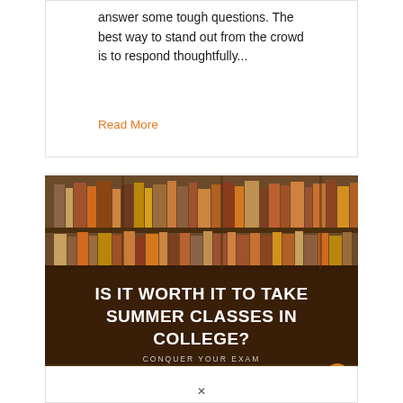answer some tough questions. The best way to stand out from the crowd is to respond thoughtfully...
Read More
[Figure (photo): Library/study room background with students. Bold white text overlay reads 'IS IT WORTH IT TO TAKE SUMMER CLASSES IN COLLEGE?' with subtitle 'CONQUER YOUR EXAM' and a small logo in the bottom-right corner.]